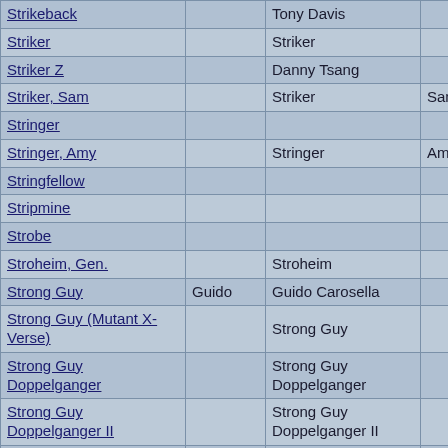| Name | Alias | Real Name | First Name |
| --- | --- | --- | --- |
| Strikeback |  | Tony Davis |  |
| Striker |  | Striker |  |
| Striker Z |  | Danny Tsang |  |
| Striker, Sam |  | Striker | Sam |
| Stringer |  |  |  |
| Stringer, Amy |  | Stringer | Amy |
| Stringfellow |  |  |  |
| Stripmine |  |  |  |
| Strobe |  |  |  |
| Stroheim, Gen. |  | Stroheim |  |
| Strong Guy | Guido | Guido Carosella |  |
| Strong Guy (Mutant X-Verse) |  | Strong Guy |  |
| Strong Guy Doppelganger |  | Strong Guy Doppelganger |  |
| Strong Guy Doppelganger II |  | Strong Guy Doppelganger II |  |
| Strong, Martin Henry |  | Strong | Martin He |
| Strong, Ogun |  | Strong | Ogun |
| Strong, Susan |  | Strong | Susan |